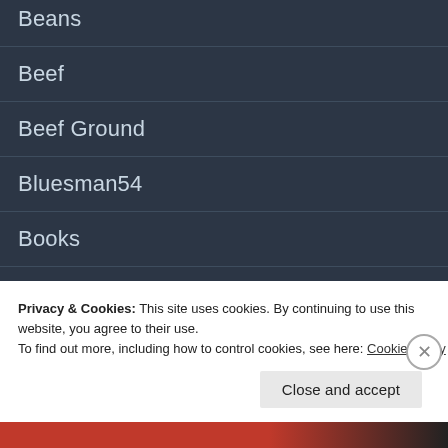Beans
Beef
Beef Ground
Bluesman54
Books
Breakfast
Privacy & Cookies: This site uses cookies. By continuing to use this website, you agree to their use.
To find out more, including how to control cookies, see here: Cookie Policy
Close and accept